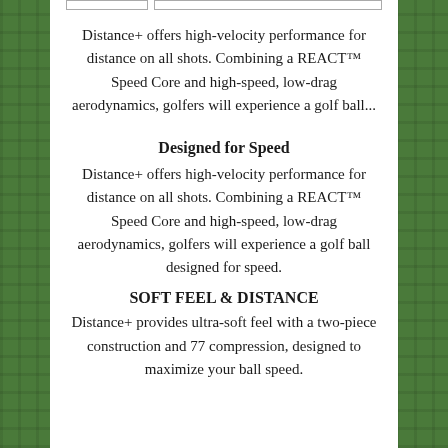Distance+ offers high-velocity performance for distance on all shots. Combining a REACT™ Speed Core and high-speed, low-drag aerodynamics, golfers will experience a golf ball...
Designed for Speed
Distance+ offers high-velocity performance for distance on all shots. Combining a REACT™ Speed Core and high-speed, low-drag aerodynamics, golfers will experience a golf ball designed for speed.
SOFT FEEL & DISTANCE
Distance+ provides ultra-soft feel with a two-piece construction and 77 compression, designed to maximize your ball speed.